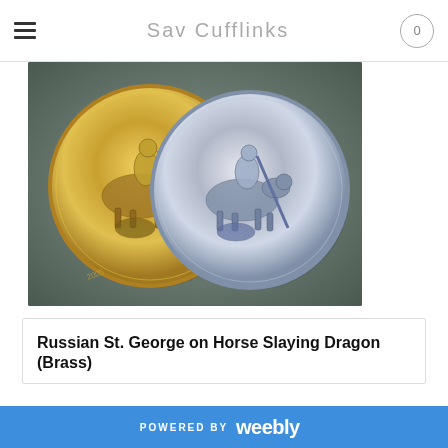Sav Cufflinks
[Figure (photo): Two round coin cufflinks showing St. George on horseback slaying a dragon, one gold/brass toned and one silver toned, on a gray background]
Russian St. George on Horse Slaying Dragon (Brass)
[Figure (photo): Partial view of a wood grain surface (product display surface), warm reddish-brown tones]
POWERED BY weebly